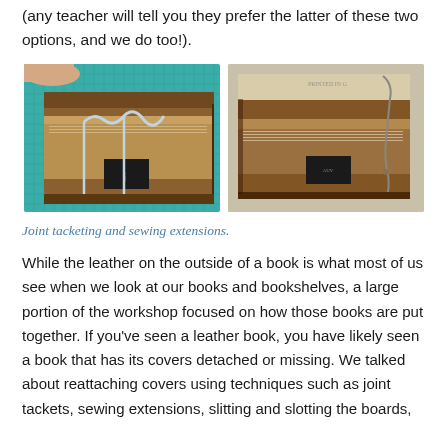(any teacher will tell you they prefer the latter of these two options, and we do too!).
[Figure (photo): Two photographs side by side showing old leather books with joint tacketing and sewing extensions on a green cutting mat background.]
Joint tacketing and sewing extensions.
While the leather on the outside of a book is what most of us see when we look at our books and bookshelves, a large portion of the workshop focused on how those books are put together. If you've seen a leather book, you have likely seen a book that has its covers detached or missing. We talked about reattaching covers using techniques such as joint tackets, sewing extensions, slitting and slotting the boards,